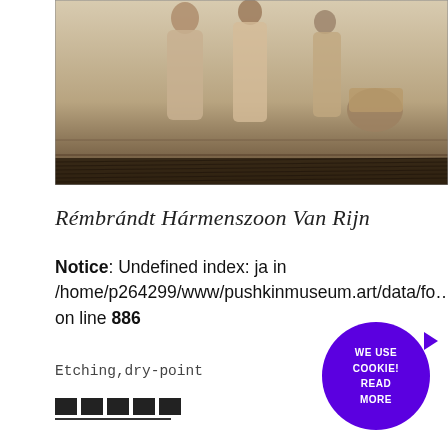[Figure (photo): Cropped etching/engraving artwork showing figures in a scene, rendered in sepia/brown tones — partially visible museum website page image]
Rémbrándt Hármenszoon Van Rijn
Notice: Undefined index: ja in /home/p264299/www/pushkinmuseum.art/data/fo… on line 886
Etching,dry-point
[Figure (other): Four black color swatches in a row with underline]
WE USE COOKIE! READ MORE